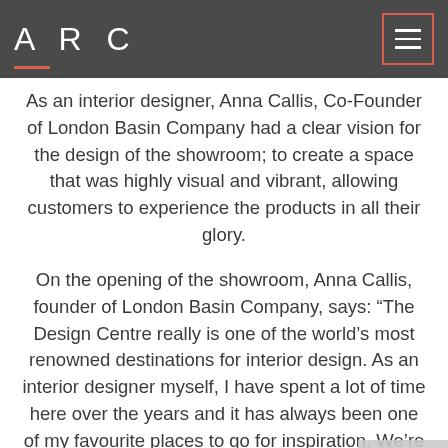ARC
As an interior designer, Anna Callis, Co-Founder of London Basin Company had a clear vision for the design of the showroom; to create a space that was highly visual and vibrant, allowing customers to experience the products in all their glory.
On the opening of the showroom, Anna Callis, founder of London Basin Company, says: “The Design Centre really is one of the world’s most renowned destinations for interior design. As an interior designer myself, I have spent a lot of time here over the years and it has always been one of my favourite places to go for inspiration. We’re so thrilled that our first showroom is at the Design Centre - it’s a dream come true.”